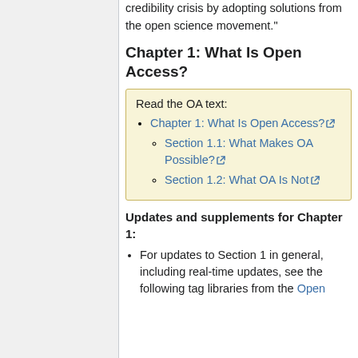address the threat of its own credibility crisis by adopting solutions from the open science movement."
Chapter 1: What Is Open Access?
Read the OA text:
Chapter 1: What Is Open Access? [external link]
Section 1.1: What Makes OA Possible? [external link]
Section 1.2: What OA Is Not [external link]
Updates and supplements for Chapter 1:
For updates to Section 1 in general, including real-time updates, see the following tag libraries from the Open